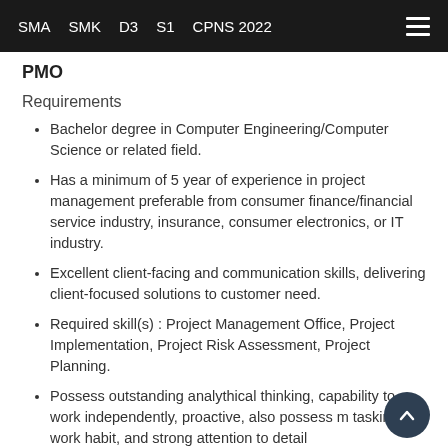SMA  SMK  D3  S1  CPNS 2022
PMO
Requirements
Bachelor degree in Computer Engineering/Computer Science or related field.
Has a minimum of 5 year of experience in project management preferable from consumer finance/financial service industry, insurance, consumer electronics, or IT industry.
Excellent client-facing and communication skills, delivering client-focused solutions to customer need.
Required skill(s) : Project Management Office, Project Implementation, Project Risk Assessment, Project Planning.
Possess outstanding analythical thinking, capability to work independently, proactive, also possess m tasking work habit, and strong attention to detail